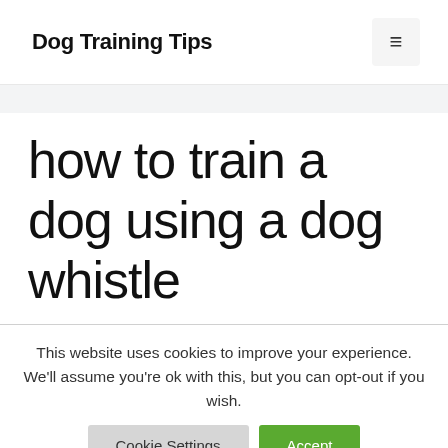Dog Training Tips
how to train a dog using a dog whistle
This website uses cookies to improve your experience. We'll assume you're ok with this, but you can opt-out if you wish.
Cookie Settings  Accept